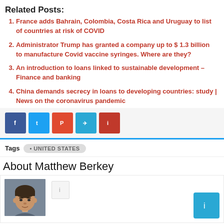Related Posts:
France adds Bahrain, Colombia, Costa Rica and Uruguay to list of countries at risk of COVID
Administrator Trump has granted a company up to $ 1.3 billion to manufacture Covid vaccine syringes. Where are they?
An introduction to loans linked to sustainable development – Finance and banking
China demands secrecy in loans to developing countries: study | News on the coronavirus pandemic
[Figure (infographic): Social media share buttons: Facebook (blue), Twitter (light blue), Pinterest/share (orange-red), Telegram (cyan), Reddit (red)]
Tags  UNITED STATES
About Matthew Berkey
[Figure (photo): Headshot photo of Matthew Berkey, a man with dark hair, along with small social share icon buttons]